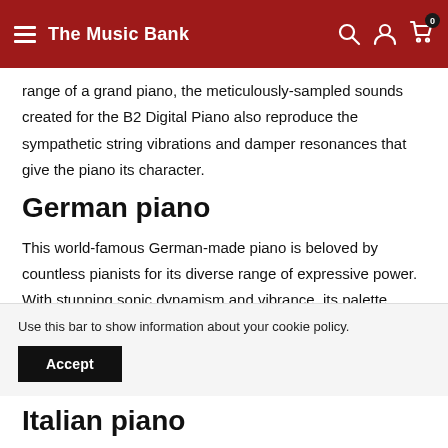The Music Bank
range of a grand piano, the meticulously-sampled sounds created for the B2 Digital Piano also reproduce the sympathetic string vibrations and damper resonances that give the piano its character.
German piano
This world-famous German-made piano is beloved by countless pianists for its diverse range of expressive power. With stunning sonic dynamism and vibrance, its palette ranges from brilliant highs to chillingly detailed lows. The provided sounds include the majestic "German
Use this bar to show information about your cookie policy.
Italian piano